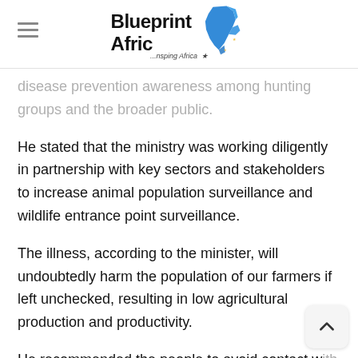Blueprint Africa - ...nspiring Africa
disease prevention awareness among hunting groups and the broader public.
He stated that the ministry was working diligently in partnership with key sectors and stakeholders to increase animal population surveillance and wildlife entrance point surveillance.
The illness, according to the minister, will undoubtedly harm the population of our farmers if left unchecked, resulting in low agricultural production and productivity.
He recommended the people to avoid contact with animals that may carry the virus, such as animals that